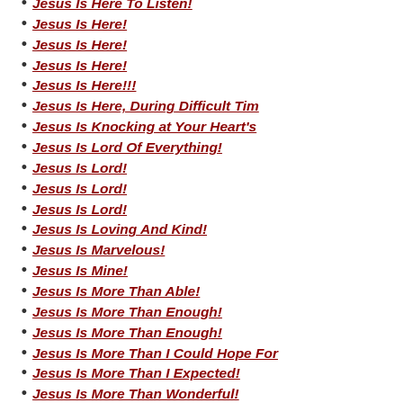Jesus Is Here To Listen!
Jesus Is Here!
Jesus Is Here!
Jesus Is Here!
Jesus Is Here!!!
Jesus Is Here, During Difficult Tim
Jesus Is Knocking at Your Heart's
Jesus Is Lord Of Everything!
Jesus Is Lord!
Jesus Is Lord!
Jesus Is Lord!
Jesus Is Loving And Kind!
Jesus Is Marvelous!
Jesus Is Mine!
Jesus Is More Than Able!
Jesus Is More Than Enough!
Jesus Is More Than Enough!
Jesus Is More Than I Could Hope For
Jesus Is More Than I Expected!
Jesus Is More Than Wonderful!
Jesus Is More Valuable Than Anythin
Jesus Is My Best Friend!
Jesus Is My Best Friend!
Jesus Is My Coming King!
Jesus Is My Companion!
Jesus Is My Everything!
Jesus Is My Everything!
Jesus Is My Everything!
Jesus Is My Lord!
Jesus Is My Precious Lord!
Jesus Is My Refuge!